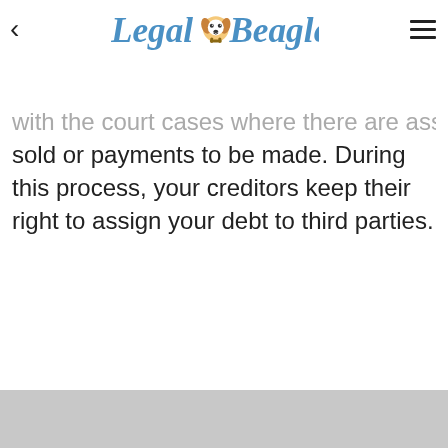Legal Beagle
with the court cases where there are assets to be sold or payments to be made. During this process, your creditors keep their right to assign your debt to third parties.